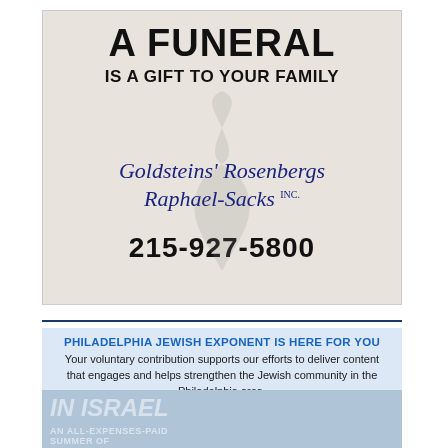[Figure (illustration): Funeral home advertisement with beige background and smoke/candle graphic showing 'A FUNERAL IS A GIFT TO YOUR FAMILY' with Goldsteins' Rosenbergs Raphael-Sacks Inc. logo and phone number 215-927-5800]
PHILADELPHIA JEWISH EXPONENT IS HERE FOR YOU
Your voluntary contribution supports our efforts to deliver content that engages and helps strengthen the Jewish community in the Philadelphia area.
CONTRIBUTE
[Figure (illustration): Partially visible background content showing text about Israel and professional development]